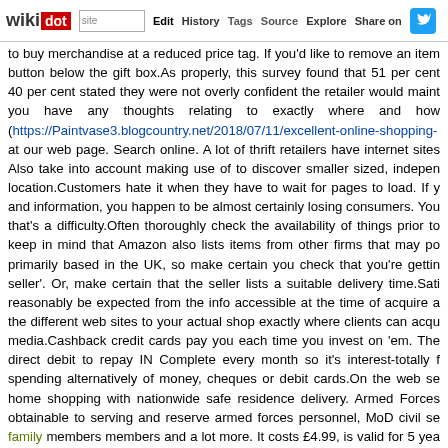wikidot | site | Edit | History | Tags | Source | Explore | Share on [Twitter]
to buy merchandise at a reduced price tag. If you'd like to remove an item button below the gift box.As properly, this survey found that 51 per cent 40 per cent stated they were not overly confident the retailer would maint you have any thoughts relating to exactly where and how (https://Paintvase3.blogcountry.net/2018/07/11/excellent-online-shopping- at our web page. Search online. A lot of thrift retailers have internet sites Also take into account making use of to discover smaller sized, indepen location.Customers hate it when they have to wait for pages to load. If y and information, you happen to be almost certainly losing consumers. You that's a difficulty.Often thoroughly check the availability of things prior to keep in mind that Amazon also lists items from other firms that may po primarily based in the UK, so make certain you check that you're gettin seller'. Or, make certain that the seller lists a suitable delivery time.Sati reasonably be expected from the info accessible at the time of acquire a the different web sites to your actual shop exactly where clients can acqu media.Cashback credit cards pay you each time you invest on 'em. The direct debit to repay IN Complete every month so it's interest-totally f spending alternatively of money, cheques or debit cards.On the web se home shopping with nationwide safe residence delivery. Armed Forces obtainable to serving and reserve armed forces personnel, MoD civil se family members members and a lot more. It costs £4.99, is valid for 5 yea the internet. See the UK Armed Forces MoneySaving thread for much m account. Chose the sign up option from their site. You will need to have have to choose a username and password and add your e-mail addre challenge questions that are utilized for your safety. You then provide th data. Then you put in the data of the checking account you want linked to sometimes your very best bet is to just wait a tiny bit. Fill a cart and aba mail you a coupon code or free of charge shipping asking you to compreh ask for a coupon code via the retailer's reside chat prior to you check o